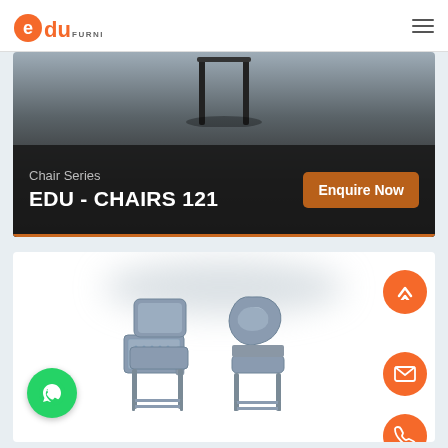edu FURNITURES
[Figure (photo): Hero banner showing chair legs from above with dark gradient overlay, labeled 'Chair Series EDU - CHAIRS 121' with an Enquire Now button]
Chair Series
EDU - CHAIRS 121
Enquire Now
[Figure (photo): Product photo of two school chairs — one with a writing tablet arm (lecture chair) and one plain bucket-style chair, both in grey with metal legs and a bottom book rack]